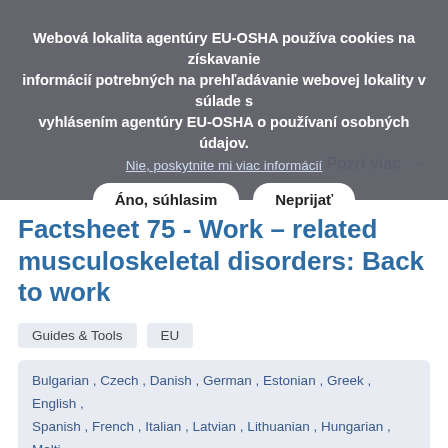Webová lokalita agentúry EU-OSHA používa cookies na získavanie informácií potrebných na prehľadávanie webovej lokality v súlade s vyhlásením agentúry EU-OSHA o používaní osobných údajov.
Nie, poskytnite mi viac informácií
Pozri viac →
Áno, súhlasím
Neprijať
Factsheet 75 - Work – related musculoskeletal disorders: Back to work
Guides & Tools
EU
Bulgarian , Czech , Danish , German , Estonian , Greek , English , Spanish , French , Italian , Latvian , Lithuanian , Hungarian , Malti , Dutch , Polish , Romanian , Slovak , Slovenian , Finnish , Swedish
EU OSHA
This fact sheet highlights the key findings of the EU-OSHA's 'Back to Work' report, which focuses on the return to work, integration and rehabilitation of